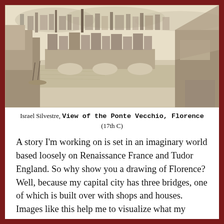[Figure (illustration): A pencil or etching drawing of the Ponte Vecchio in Florence, showing a panoramic view of the bridge lined with buildings over a river, with the cityscape and hills in the background.]
Israel Silvestre, View of the Ponte Vecchio, Florence (17th C)
A story I'm working on is set in an imaginary world based loosely on Renaissance France and Tudor England. So why show you a drawing of Florence? Well, because my capital city has three bridges, one of which is built over with shops and houses. Images like this help me to visualize what my characters see, whether they illustrate exactly what I have in mind or not. In this case, I'm pleased by the representation